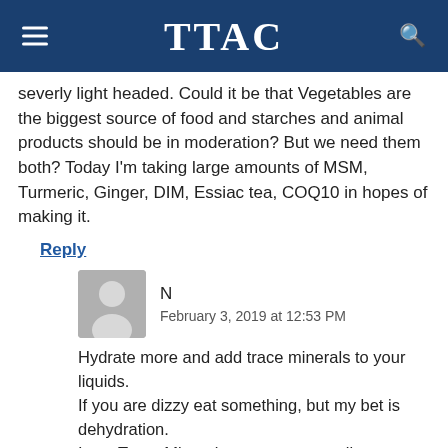TTAC
severly light headed. Could it be that Vegetables are the biggest source of food and starches and animal products should be in moderation? But we need them both? Today I'm taking large amounts of MSM, Turmeric, Ginger, DIM, Essiac tea, COQ10 in hopes of making it.
Reply
N
February 3, 2019 at 12:53 PM
Hydrate more and add trace minerals to your liquids.
If you are dizzy eat something, but my bet is dehydration.
I use Trace Minerals no cramps, no dizzy.
How I know…when I contract my cafe muscles they never cramp.
Leg tingling, buzzing and jumps are gone for